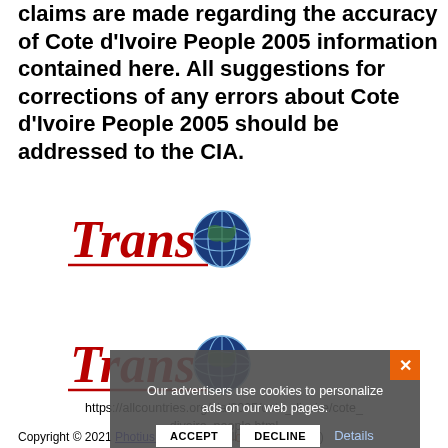claims are made regarding the accuracy of Cote d'Ivoire People 2005 information contained here. All suggestions for corrections of any errors about Cote d'Ivoire People 2005 should be addressed to the CIA.
[Figure (logo): Trans logo with globe icon (first instance)]
[Figure (logo): Trans logo with globe icon (second instance)]
https://allcountries.org/cia/2005/cote_divoire/cote_divoire_people.html
vis feb-06
Copyright © 2021 Photius Coutsoukis (all rights reserved)
Our advertisers use cookies to personalize ads on our web pages.